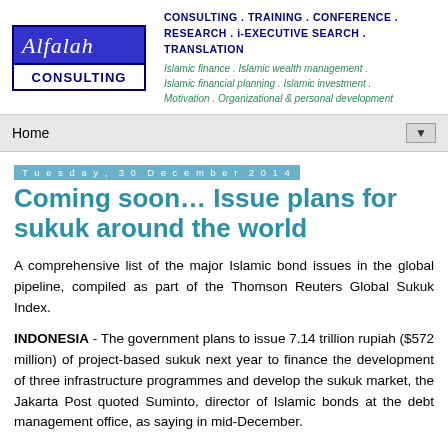[Figure (logo): Alfalah Consulting logo — blue box with italic white text 'Alfalah' on dark blue background, 'CONSULTING' in bold navy on white below]
CONSULTING . TRAINING . CONFERENCE . RESEARCH . i-EXECUTIVE SEARCH . TRANSLATION
Islamic finance . Islamic wealth management . Islamic financial planning . Islamic investment . Motivation . Organizational & personal development
Home
Tuesday, 30 December 2014
Coming soon… Issue plans for sukuk around the world
A comprehensive list of the major Islamic bond issues in the global pipeline, compiled as part of the Thomson Reuters Global Sukuk Index.
INDONESIA - The government plans to issue 7.14 trillion rupiah ($572 million) of project-based sukuk next year to finance the development of three infrastructure programmes and develop the sukuk market, the Jakarta Post quoted Suminto, director of Islamic bonds at the debt management office, as saying in mid-December.